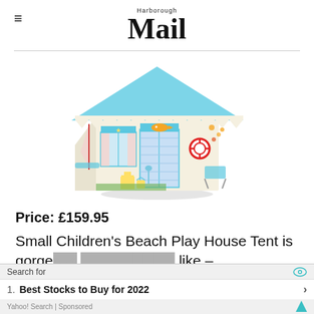Harborough Mail
[Figure (photo): Children's beach play house tent product photo — a fabric playhouse shaped like a beach hut with a blue roof, white walls with zigzag trim, decorated with fish, lifebuoy, beach chair, and sand castle motifs.]
Price: £159.95
Small Children's Beach Play House Tent is gorgeous … like –
[Figure (other): Advertisement overlay: Search for — 1. Best Stocks to Buy for 2022 — Yahoo! Search | Sponsored]